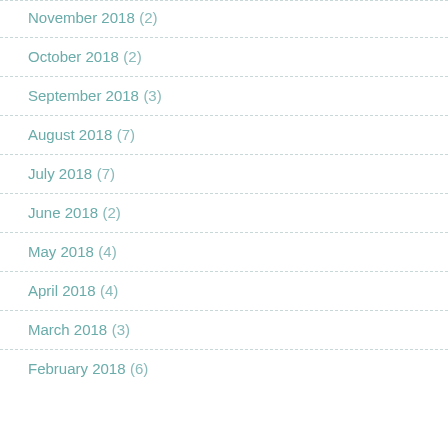November 2018 (2)
October 2018 (2)
September 2018 (3)
August 2018 (7)
July 2018 (7)
June 2018 (2)
May 2018 (4)
April 2018 (4)
March 2018 (3)
February 2018 (6)